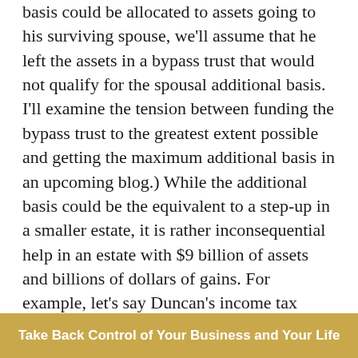basis could be allocated to assets going to his surviving spouse, we'll assume that he left the assets in a bypass trust that would not qualify for the spousal additional basis. I'll examine the tension between funding the bypass trust to the greatest extent possible and getting the maximum additional basis in an upcoming blog.) While the additional basis could be the equivalent to a step-up in a smaller estate, it is rather inconsequential help in an estate with $9 billion of assets and billions of dollars of gains. For example, let's say Duncan's income tax basis in his Enterprise stock is the $10,000 and two propane trucks he used to start the business way back when. Let's say the total value was $100,000. Even if the executor allocated the entire $1.3 million of additional basis...
Take Back Control of Your Business and Your Life